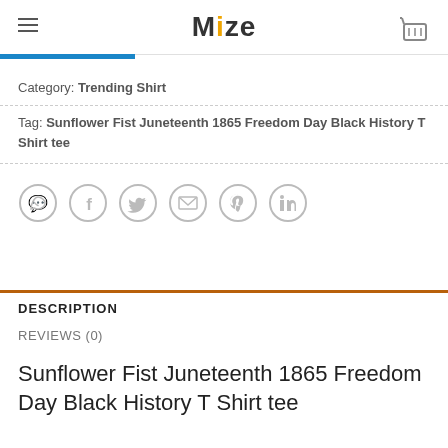Mize
Category: Trending Shirt
Tag: Sunflower Fist Juneteenth 1865 Freedom Day Black History T Shirt tee
[Figure (other): Social sharing icons: WhatsApp, Facebook, Twitter, Email, Pinterest, LinkedIn]
DESCRIPTION
REVIEWS (0)
Sunflower Fist Juneteenth 1865 Freedom Day Black History T Shirt tee